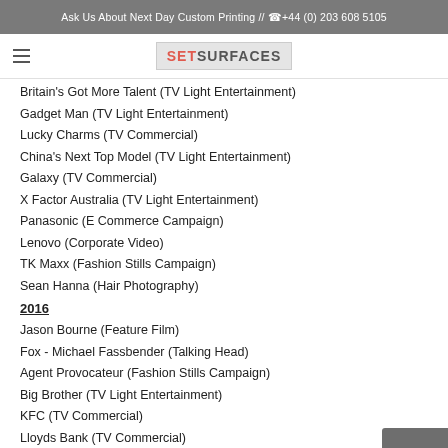Ask Us About Next Day Custom Printing // ☎ +44 (0) 203 608 5105
[Figure (logo): SetSurfaces logo with SET in red and SURFACES in gray on a light gray background]
Britain's Got More Talent (TV Light Entertainment)
Gadget Man (TV Light Entertainment)
Lucky Charms (TV Commercial)
China's Next Top Model (TV Light Entertainment)
Galaxy (TV Commercial)
X Factor Australia (TV Light Entertainment)
Panasonic (E Commerce Campaign)
Lenovo (Corporate Video)
TK Maxx (Fashion Stills Campaign)
Sean Hanna (Hair Photography)
2016
Jason Bourne (Feature Film)
Fox - Michael Fassbender (Talking Head)
Agent Provocateur (Fashion Stills Campaign)
Big Brother (TV Light Entertainment)
KFC (TV Commercial)
Lloyds Bank (TV Commercial)
McDonalds (TV Commercial)
Net A Porter (E Commerce Campaign)